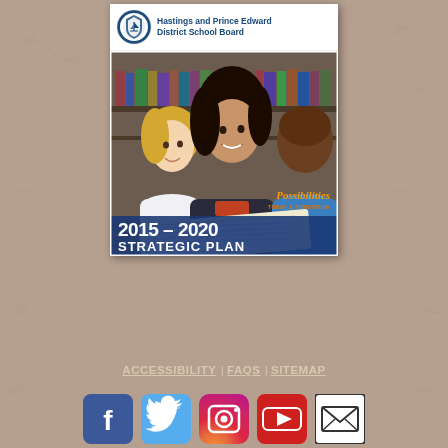[Figure (illustration): Hastings and Prince Edward District School Board brochure cover showing three students reading together in a library, with the text 'Possibilities Today & Tomorrow' and '2015 – 2020 Strategic Plan' overlaid on a blue banner at the bottom. The school board logo appears in the top-left corner.]
ACCESSIBILITY | FAQS | SITEMAP
[Figure (illustration): Row of five social media icons: Facebook (blue), Twitter (light blue bird), Instagram (gradient camera), YouTube (red), and email/envelope (white with black outline).]